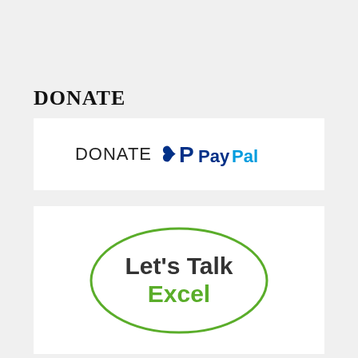DONATE
[Figure (logo): PayPal Donate button with text DONATE and PayPal logo]
[Figure (logo): Let's Talk Excel logo with oval green border, black text Let's Talk and green text Excel]